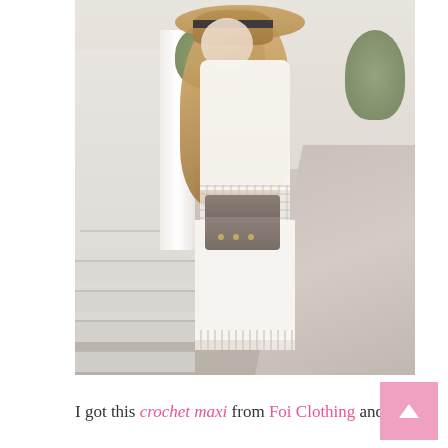[Figure (photo): A young woman wearing a white crochet maxi dress, a wide-brim straw hat with a dark ribbon band, and carrying a taupe/grey structured crossbody bag with gold studs. She has long wavy blonde hair and is posing on a sunlit street with white stone steps, pillars, and greenery in the background.]
I got this crochet maxi from Foi Clothing and